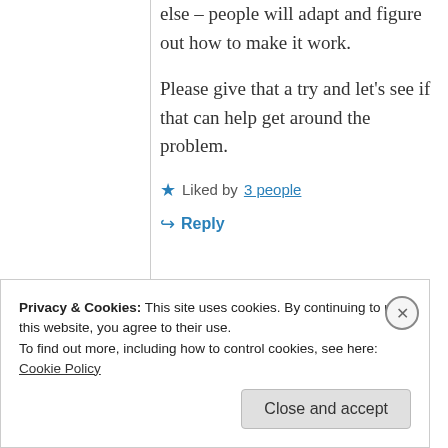else – people will adapt and figure out how to make it work.
Please give that a try and let's see if that can help get around the problem.
★ Liked by 3 people
↳ Reply
Privacy & Cookies: This site uses cookies. By continuing to use this website, you agree to their use. To find out more, including how to control cookies, see here: Cookie Policy
Close and accept